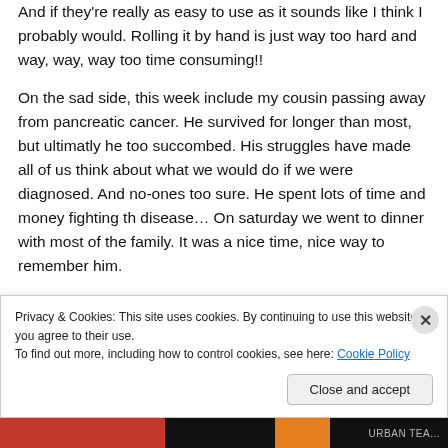And if they're really as easy to use as it sounds like I think I probably would. Rolling it by hand is just way too hard and way, way, way too time consuming!!
On the sad side, this week include my cousin passing away from pancreatic cancer. He survived for longer than most, but ultimatly he too succombed. His struggles have made all of us think about what we would do if we were diagnosed. And no-ones too sure. He spent lots of time and money fighting th disease… On saturday we went to dinner with most of the family. It was a nice time, nice way to remember him.
Privacy & Cookies: This site uses cookies. By continuing to use this website, you agree to their use.
To find out more, including how to control cookies, see here: Cookie Policy